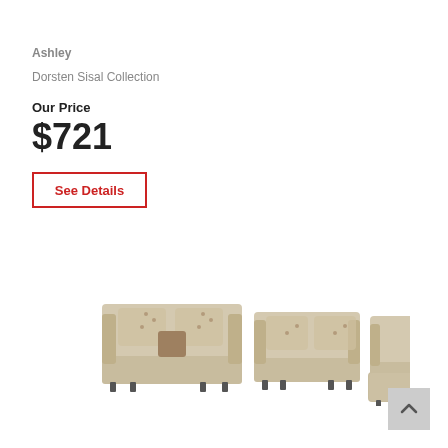Ashley
Dorsten Sisal Collection
Our Price
$721
See Details
[Figure (photo): Furniture set from the Dorsten Sisal Collection by Ashley: sofa with decorative pillows, loveseat, accent chair, and ottoman, all in a beige/sisal fabric]
[Figure (other): Scroll-to-top button with upward chevron arrow]